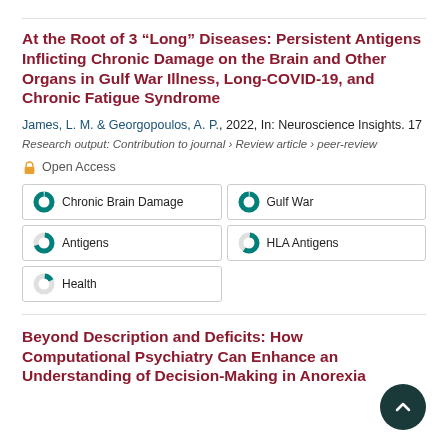At the Root of 3 “Long” Diseases: Persistent Antigens Inflicting Chronic Damage on the Brain and Other Organs in Gulf War Illness, Long-COVID-19, and Chronic Fatigue Syndrome
James, L. M. & Georgopoulos, A. P., 2022, In: Neuroscience Insights. 17
Research output: Contribution to journal › Review article › peer-review
🔓 Open Access
Chronic Brain Damage
Gulf War
Antigens
HLA Antigens
Health
Beyond Description and Deficits: How Computational Psychiatry Can Enhance an Understanding of Decision-Making in Anorexia